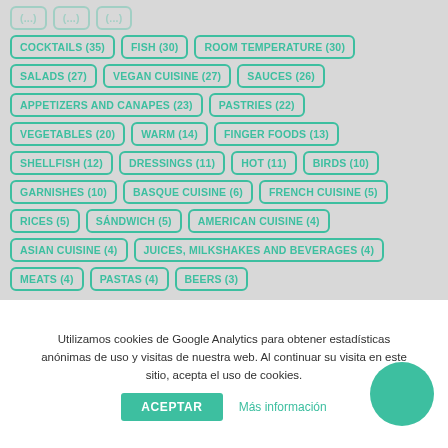COCKTAILS (35)
FISH (30)
ROOM TEMPERATURE (30)
SALADS (27)
VEGAN CUISINE (27)
SAUCES (26)
APPETIZERS AND CANAPES (23)
PASTRIES (22)
VEGETABLES (20)
WARM (14)
FINGER FOODS (13)
SHELLFISH (12)
DRESSINGS (11)
HOT (11)
BIRDS (10)
GARNISHES (10)
BASQUE CUISINE (6)
FRENCH CUISINE (5)
RICES (5)
SÁNDWICH (5)
AMERICAN CUISINE (4)
ASIAN CUISINE (4)
JUICES, MILKSHAKES AND BEVERAGES (4)
MEATS (4)
PASTAS (4)
BEERS (3)
Utilizamos cookies de Google Analytics para obtener estadísticas anónimas de uso y visitas de nuestra web. Al continuar su visita en este sitio, acepta el uso de cookies.
ACEPTAR   Más información